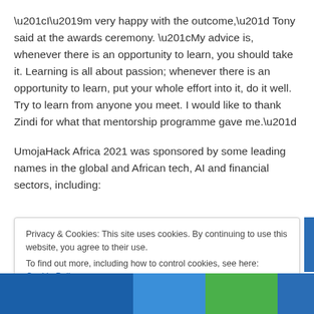“I’m very happy with the outcome,” Tony said at the awards ceremony. “My advice is, whenever there is an opportunity to learn, you should take it. Learning is all about passion; whenever there is an opportunity to learn, put your whole effort into it, do it well. Try to learn from anyone you meet. I would like to thank Zindi for what that mentorship programme gave me.”
UmojaHack Africa 2021 was sponsored by some leading names in the global and African tech, AI and financial sectors, including:
Privacy & Cookies: This site uses cookies. By continuing to use this website, you agree to their use. To find out more, including how to control cookies, see here: Cookie Policy